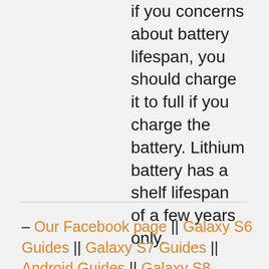if you concerns about battery lifespan, you should charge it to full if you charge the battery. Lithium battery has a shelf lifespan of a few years only.
– Our Facebook page || Galaxy S6 Guides || Galaxy S7 Guides || Android Guides || Galaxy S8 Guides || Galaxy S9 Guides || Google Home Guides || Headphone Guides || Galaxy Note Guides || Fire tablet guide || Moto G Guides || Chromecast Guides || Moto E Guides || Galaxy S10 Guides || Galaxy